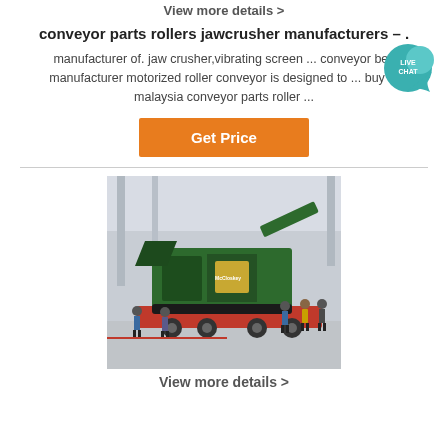View more details >
conveyor parts rollers jawcrusher manufacturers – .
manufacturer of. jaw crusher,vibrating screen ... conveyor belt manufacturer motorized roller conveyor is designed to ... buy b malaysia conveyor parts roller ...
[Figure (other): Live Chat badge - teal speech bubble with LIVE CHAT text]
Get Price
[Figure (photo): Large green mobile jaw crusher machine on a flatbed trailer inside a warehouse/factory, with several people standing around inspecting it.]
View more details >